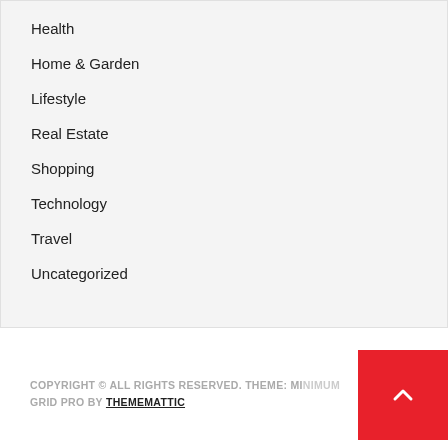Health
Home & Garden
Lifestyle
Real Estate
Shopping
Technology
Travel
Uncategorized
COPYRIGHT © ALL RIGHTS RESERVED. THEME: MINIMUM GRID PRO BY THEMEMATTIC